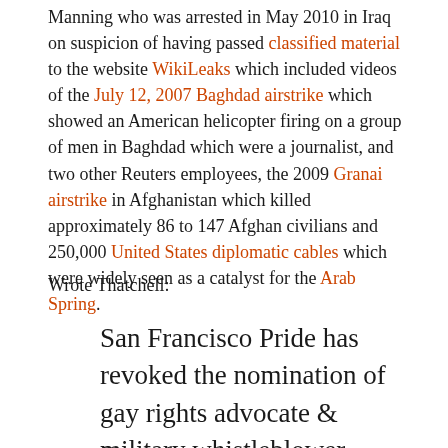Manning who was arrested in May 2010 in Iraq on suspicion of having passed classified material to the website WikiLeaks which included videos of the July 12, 2007 Baghdad airstrike which showed an American helicopter firing on a group of men in Baghdad which were a journalist, and two other Reuters employees, the 2009 Granai airstrike in Afghanistan which killed approximately 86 to 147 Afghan civilians and 250,000 United States diplomatic cables which were widely seen as a catalyst for the Arab Spring.
Wrote Thatchell:
San Francisco Pride has revoked the nomination of gay rights advocate & military whistleblower Private Bradley Manning as Grand